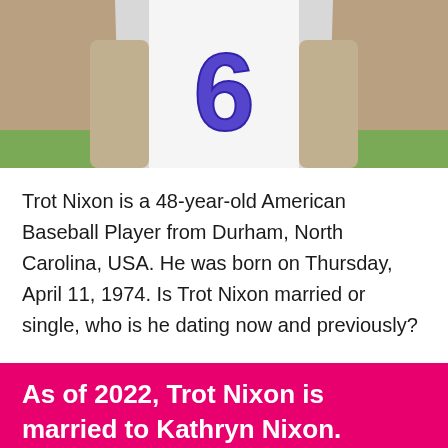[Figure (photo): Cropped photo of Trot Nixon in a white baseball jersey with blue number 6]
Trot Nixon is a 48-year-old American Baseball Player from Durham, North Carolina, USA. He was born on Thursday, April 11, 1974. Is Trot Nixon married or single, who is he dating now and previously?
As of 2022, Trot Nixon is married to Kathryn Nixon.
RELATIONSHIP DETAILS BELOW ↳